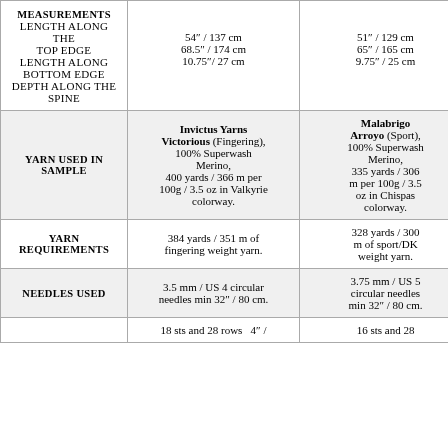|  | Invictus Yarns Victorious (Fingering) | Malabrigo Arroyo (Sport) |
| --- | --- | --- |
| MEASUREMENTS
Length along the Top Edge
Length along Bottom Edge
Depth along the spine | 54″ / 137 cm
68.5″ / 174 cm
10.75″/ 27 cm | 51″ / 129 cm
65″ / 165 cm
9.75″ / 25 cm |
| YARN USED IN SAMPLE | Invictus Yarns Victorious (Fingering), 100% Superwash Merino, 400 yards / 366 m per 100g / 3.5 oz in Valkyrie colorway. | Malabrigo Arroyo (Sport), 100% Superwash Merino, 335 yards / 306 m per 100g / 3.5 oz in Chispas colorway. |
| YARN REQUIREMENTS | 384 yards / 351 m of fingering weight yarn. | 328 yards / 300 m of sport/DK weight yarn. |
| NEEDLES USED | 3.5 mm / US 4 circular needles min 32″ / 80 cm. | 3.75 mm / US 5 circular needles min 32″ / 80 cm. |
|  | 18 sts and 28 rows ... | 16 sts and 28 ... |